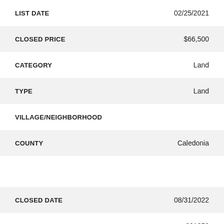| Field | Value |
| --- | --- |
| LIST DATE | 02/25/2021 |
| CLOSED PRICE | $66,500 |
| CATEGORY | Land |
| TYPE | Land |
| VILLAGE/NEIGHBORHOOD |  |
| COUNTY | Caledonia |
| CLOSED DATE | 08/31/2022 |
| LOT DIMENSIONS | 291852 |